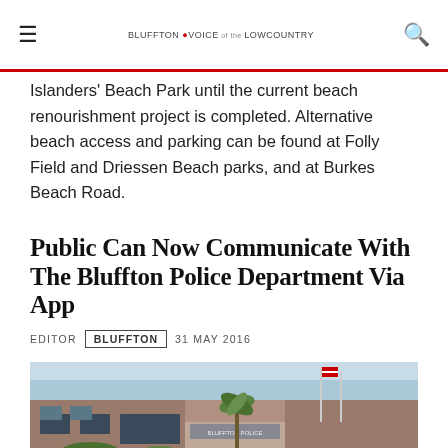≡  BLUFFTON VOICE of the LOWCOUNTRY  🔍
Islanders' Beach Park until the current beach renourishment project is completed. Alternative beach access and parking can be found at Folly Field and Driessen Beach parks, and at Burkes Beach Road.
Public Can Now Communicate With The Bluffton Police Department Via App
EDITOR  BLUFFTON  31 MAY 2016
[Figure (photo): Exterior photo of the Bluffton Police Department building, a brick structure with a palm tree and flag poles visible in front.]